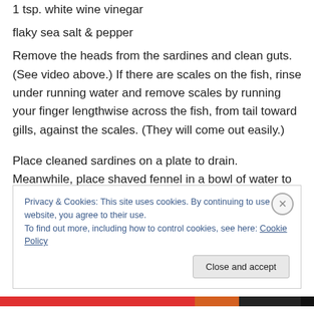1 tsp. white wine vinegar
flaky sea salt & pepper
Remove the heads from the sardines and clean guts. (See video above.) If there are scales on the fish, rinse under running water and remove scales by running your finger lengthwise across the fish, from tail toward gills, against the scales. (They will come out easily.)
Place cleaned sardines on a plate to drain. Meanwhile, place shaved fennel in a bowl of water to remove any sand or grit. Drain thoroughly, turning in a salad spinner or
Privacy & Cookies: This site uses cookies. By continuing to use this website, you agree to their use.
To find out more, including how to control cookies, see here: Cookie Policy
Close and accept